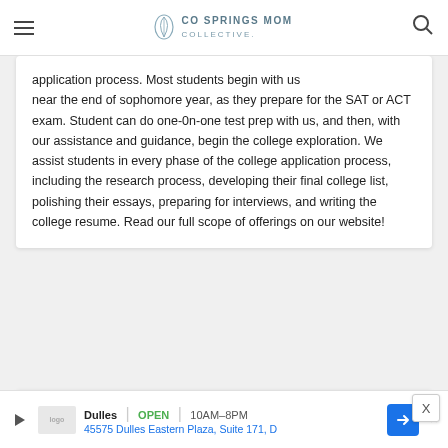CO SPRINGS MOM COLLECTIVE
application process.  Most students begin with us near the end of sophomore year, as they prepare for the SAT or ACT exam.  Student can do one-0n-one test prep with us, and then, with our assistance and guidance, begin the college exploration.  We assist students in every phase of the college application process, including the research process, developing their final college list, polishing their essays, preparing for interviews, and writing the college resume.  Read our full scope of offerings on our website!
[Figure (photo): Partial circular photo with mauve/rose background color, showing the top arc of a circle]
Dulles  OPEN  10AM-8PM  45575 Dulles Eastern Plaza, Suite 171, D